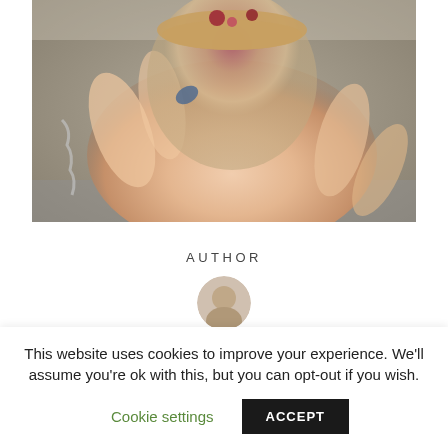[Figure (photo): A hand holding a clear plastic cup containing layered dessert with granola and berries, photographed from above against a gray surface background.]
AUTHOR
[Figure (photo): Circular author avatar photo, partially visible at bottom of page.]
This website uses cookies to improve your experience. We'll assume you're ok with this, but you can opt-out if you wish.
Cookie settings    ACCEPT